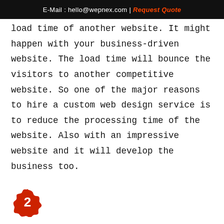E-Mail : hello@wepnex.com | Request Quote
load time of another website. It might happen with your business-driven website. The load time will bounce the visitors to another competitive website. So one of the major reasons to hire a custom web design service is to reduce the processing time of the website. Also with an impressive website and it will develop the business too.
[Figure (illustration): Red paint splat badge with white number 2 in the center]
BEST UTILIZATION OF IMAGES: